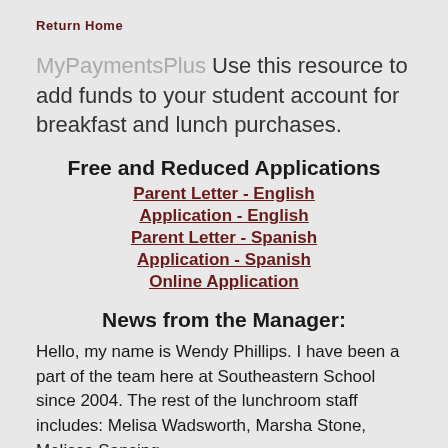Return Home
MyPaymentsPlus Use this resource to add funds to your student account for breakfast and lunch purchases.
Free and Reduced Applications
Parent Letter - English
Application - English
Parent Letter - Spanish
Application - Spanish
Online Application
News from the Manager:
Hello, my name is Wendy Phillips. I have been a part of the team here at Southeastern School since 2004. The rest of the lunchroom staff includes: Melisa Wadsworth, Marsha Stone, Melissa Sansing,